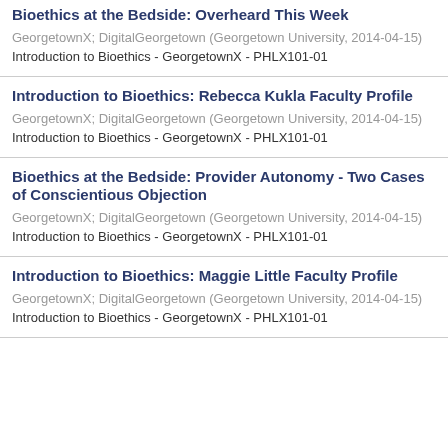Bioethics at the Bedside: Overheard This Week
GeorgetownX; DigitalGeorgetown (Georgetown University, 2014-04-15)
Introduction to Bioethics - GeorgetownX - PHLX101-01
Introduction to Bioethics: Rebecca Kukla Faculty Profile
GeorgetownX; DigitalGeorgetown (Georgetown University, 2014-04-15)
Introduction to Bioethics - GeorgetownX - PHLX101-01
Bioethics at the Bedside: Provider Autonomy - Two Cases of Conscientious Objection
GeorgetownX; DigitalGeorgetown (Georgetown University, 2014-04-15)
Introduction to Bioethics - GeorgetownX - PHLX101-01
Introduction to Bioethics: Maggie Little Faculty Profile
GeorgetownX; DigitalGeorgetown (Georgetown University, 2014-04-15)
Introduction to Bioethics - GeorgetownX - PHLX101-01